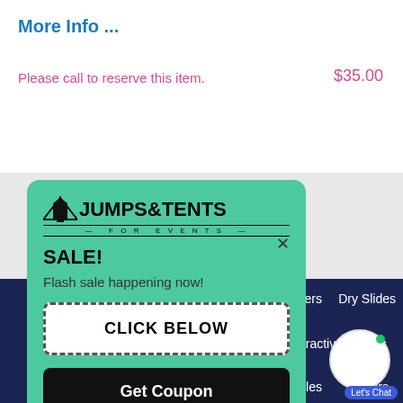More Info ...
Please call to reserve this item.
$35.00
[Figure (screenshot): Jumps & Tents for Events promotional popup with SALE! header, Flash sale happening now! text, CLICK BELOW button with dashed border, and Get Coupon black button]
bo Bouncers   Dry Slides
Interactive Games
Tables   Chairs
gns   Contact Us
Let's Chat